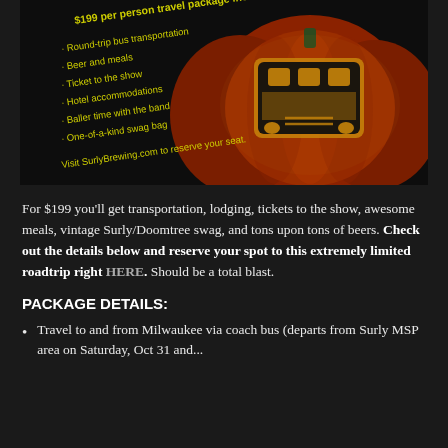[Figure (illustration): Dark promo image with a glowing jack-o-lantern pumpkin carved with a school bus design. Yellow text on left lists: '$199 per person travel package includes: Round-trip bus transportation, Beer and meals, Ticket to the show, Hotel accommodations, Baller time with the band, One-of-a-kind swag bag. Visit SurlyBrewing.com to reserve your seat.']
For $199 you'll get transportation, lodging, tickets to the show, awesome meals, vintage Surly/Doomtree swag, and tons upon tons of beers. Check out the details below and reserve your spot to this extremely limited roadtrip right HERE. Should be a total blast.
PACKAGE DETAILS:
Travel to and from Milwaukee via coach bus (departs from Surly MSP area on Saturday, Oct 31 and...